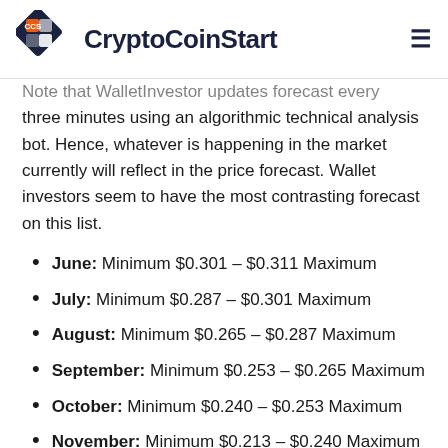CryptoCoinStart
Note that WalletInvestor updates forecast every three minutes using an algorithmic technical analysis bot. Hence, whatever is happening in the market currently will reflect in the price forecast. Wallet investors seem to have the most contrasting forecast on this list.
June: Minimum $0.301 – $0.311 Maximum
July: Minimum $0.287 – $0.301 Maximum
August: Minimum $0.265 – $0.287 Maximum
September: Minimum $0.253 – $0.265 Maximum
October: Minimum $0.240 – $0.253 Maximum
November: Minimum $0.213 – $0.240 Maximum
December: Minimum $0.181 – $0.213 Maximum